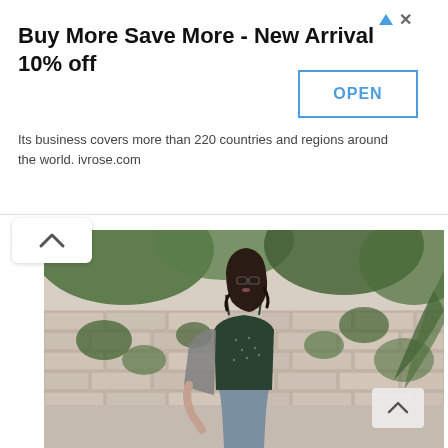Buy More Save More - New Arrival 10% off
Its business covers more than 220 countries and regions around the world. ivrose.com
[Figure (photo): Woman with dark curly hair and glasses wearing a dark green corset top and denim jeans, with a grey cardigan, posing outdoors against a brick wall covered in vines and trees.]